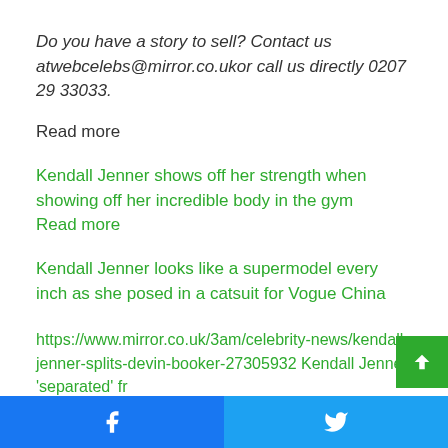Do you have a story to sell? Contact us atwebcelebs@mirror.co.ukor call us directly 0207 29 33033.
Read more
Kendall Jenner shows off her strength when showing off her incredible body in the gym
Read more
Kendall Jenner looks like a supermodel every inch as she posed in a catsuit for Vogue China
https://www.mirror.co.uk/3am/celebrity-news/kendall-jenner-splits-devin-booker-27305932 Kendall Jenner 'separated' from Devin Booker because she 'didn't share the same opinion'